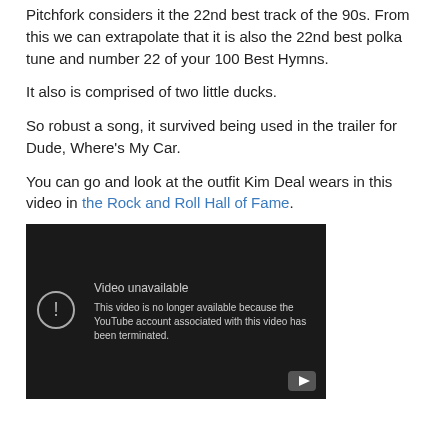Pitchfork considers it the 22nd best track of the 90s. From this we can extrapolate that it is also the 22nd best polka tune and number 22 of your 100 Best Hymns.
It also is comprised of two little ducks.
So robust a song, it survived being used in the trailer for Dude, Where's My Car.
You can go and look at the outfit Kim Deal wears in this video in the Rock and Roll Hall of Fame.
[Figure (screenshot): Embedded YouTube video placeholder showing 'Video unavailable' message: 'This video is no longer available because the YouTube account associated with this video has been terminated.']